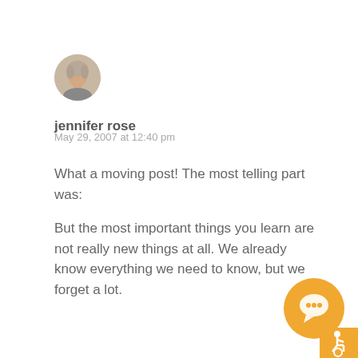[Figure (photo): Circular avatar photo of a woman with light hair]
jennifer rose
May 29, 2007 at 12:40 pm
What a moving post! The most telling part was:
But the most important things you learn are not really new things at all. We already know everything we need to know, but we forget a lot.
[Figure (illustration): Orange circle with chat/comment icon and accessibility wheelchair icon in bottom-right corner]